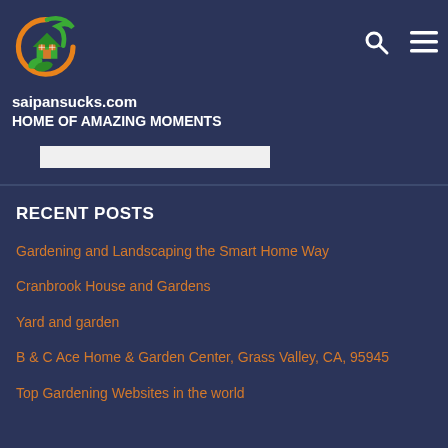[Figure (logo): saipansucks.com logo: circular icon with orange crescent, green house and leaf on dark blue background]
saipansucks.com
HOME OF AMAZING MOMENTS
RECENT POSTS
Gardening and Landscaping the Smart Home Way
Cranbrook House and Gardens
Yard and garden
B & C Ace Home & Garden Center, Grass Valley, CA, 95945
Top Gardening Websites in the world